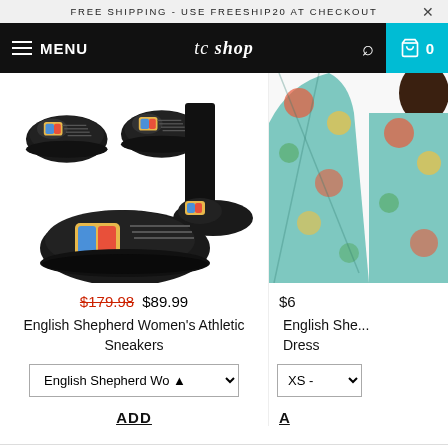FREE SHIPPING - USE FREESHIP20 AT CHECKOUT
tc shop  MENU  0
[Figure (photo): Black athletic sneakers with colorful English Shepherd dog graphic, shown in three views: pair from above, person wearing them, and single shoe side view]
[Figure (photo): Partial view of a woman in a colorful floral/tropical English Shepherd print dress, cropped on right side]
$179.98 $89.99
$6
English Shepherd Women's Athletic Sneakers
English She... Dress
English Shepherd Wo ÷
XS -
ADD
A